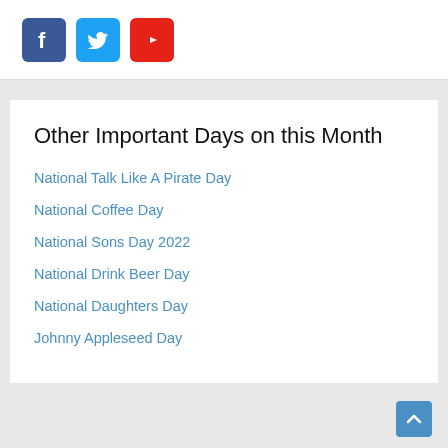[Figure (logo): Social media icons: Facebook (blue square with f), Twitter (light blue square with bird), YouTube (red square with play triangle)]
Other Important Days on this Month
National Talk Like A Pirate Day
National Coffee Day
National Sons Day 2022
National Drink Beer Day
National Daughters Day
Johnny Appleseed Day